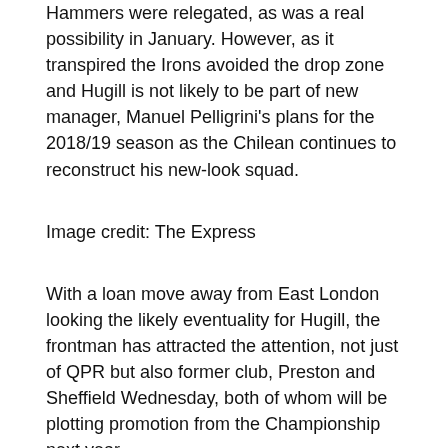Hammers were relegated, as was a real possibility in January. However, as it transpired the Irons avoided the drop zone and Hugill is not likely to be part of new manager, Manuel Pelligrini's plans for the 2018/19 season as the Chilean continues to reconstruct his new-look squad.
Image credit: The Express
With a loan move away from East London looking the likely eventuality for Hugill, the frontman has attracted the attention, not just of QPR but also former club, Preston and Sheffield Wednesday, both of whom will be plotting promotion from the Championship next year.
Hugill, who scored 30 goals during his 114 appearances with Preston has so far played understudy to West Ham's three other strikers, Javier Hernandez, Andy Carroll, and